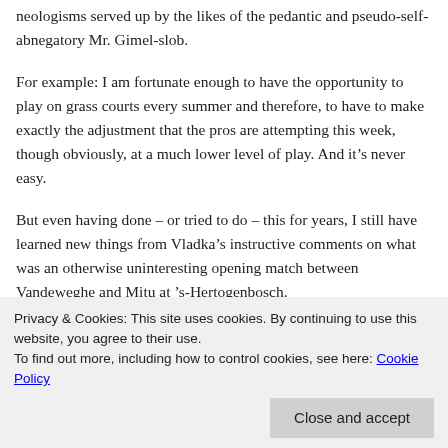neologisms served up by the likes of the pedantic and pseudo-self-abnegatory Mr. Gimel-slob.
For example: I am fortunate enough to have the opportunity to play on grass courts every summer and therefore, to have to make exactly the adjustment that the pros are attempting this week, though obviously, at a much lower level of play. And it's never easy.
But even having done – or tried to do – this for years, I still have learned new things from Vladka's instructive comments on what was an otherwise uninteresting opening match between Vandeweghe and Mitu at 's-Hertogenbosch.
Privacy & Cookies: This site uses cookies. By continuing to use this website, you agree to their use.
To find out more, including how to control cookies, see here: Cookie Policy
Close and accept